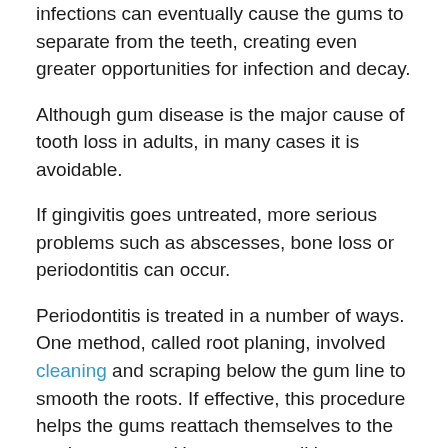infections can eventually cause the gums to separate from the teeth, creating even greater opportunities for infection and decay.
Although gum disease is the major cause of tooth loss in adults, in many cases it is avoidable.
If gingivitis goes untreated, more serious problems such as abscesses, bone loss or periodontitis can occur.
Periodontitis is treated in a number of ways. One method, called root planing, involved cleaning and scraping below the gum line to smooth the roots. If effective, this procedure helps the gums reattach themselves to the tooth structure.  However, not all instances of scaling and root planing successfully reattach the tooth to the gums.  Additional measures may be needed if the periodontal pockets persist after scaling and root planing
...